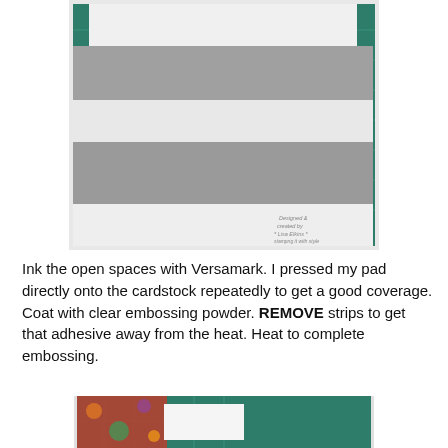[Figure (photo): Photo showing alternating white and gray cardstock strips laid flat on a green cutting mat background. A small stamp mark is visible in the lower right of the photo.]
Ink the open spaces with Versamark.  I pressed my pad directly onto the cardstock repeatedly to get a good coverage.  Coat with clear embossing powder.  REMOVE strips to get that adhesive away from the heat.  Heat to complete embossing.
[Figure (photo): Partial photo at the bottom of the page showing colorful patterned paper and a white strip on a green cutting mat, partially cropped.]